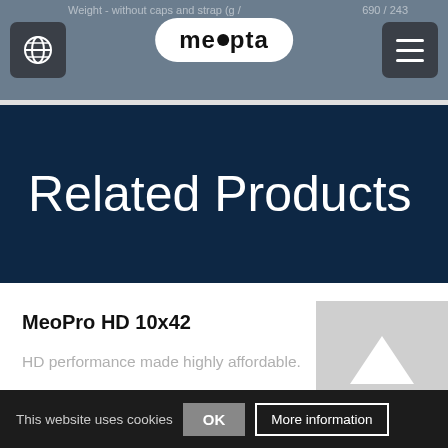Weight - without caps and strap (g / oz)  690 / 243
[Figure (logo): Meopta logo in white oval on navigation bar]
Related Products
MeoPro HD 10x42
HD performance made highly affordable.
[Figure (photo): Gray image placeholder with white upward arrow]
This website uses cookies  OK  More information